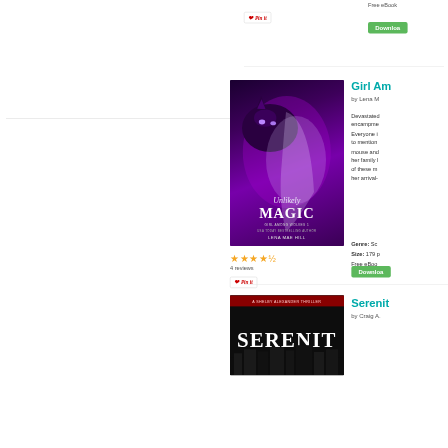[Figure (other): Pin it button at top of page]
Free eBook
[Figure (other): Green Download button]
[Figure (other): Book cover: Unlikely Magic - Girl Among Wolves 1 by Lena Mae Hill. Purple/violet cover with wolf and woman.]
[Figure (other): Star rating: 4.5 stars]
4 reviews
[Figure (other): Pin it button]
Girl Am...
by Lena M...
Devastated... encampment... Everyone i... to mention... mouse and... her family l... of these m... her arrival-...
Genre: Sc...
Size: 179 p...
Free eBoo...
[Figure (other): Green Download button]
[Figure (other): Book cover: Serenity - A Shelby Alexander Thriller]
Serenit...
by Craig A....